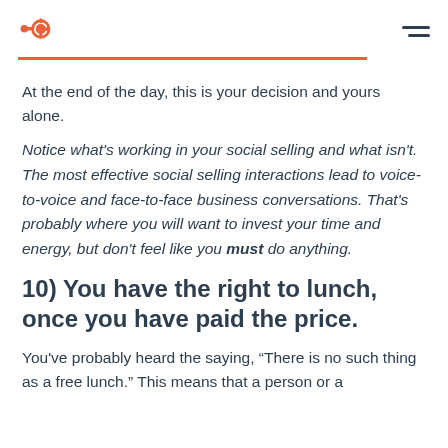HubSpot logo and navigation menu
At the end of the day, this is your decision and yours alone.
Notice what's working in your social selling and what isn't. The most effective social selling interactions lead to voice-to-voice and face-to-face business conversations. That's probably where you will want to invest your time and energy, but don't feel like you must do anything.
10) You have the right to lunch, once you have paid the price.
You've probably heard the saying, “There is no such thing as a free lunch.” This means that a person or a